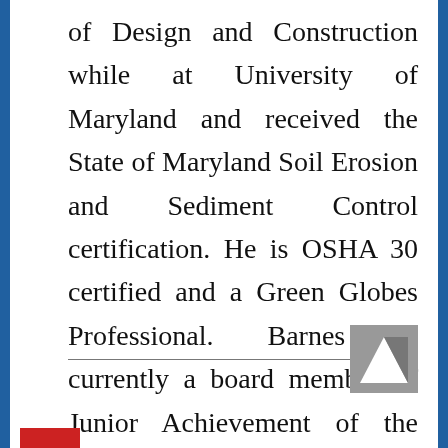of Design and Construction while at University of Maryland and received the State of Maryland Soil Erosion and Sediment Control certification. He is OSHA 30 certified and a Green Globes Professional. Barnes is currently a board member of Junior Achievement of the Eastern Shore.